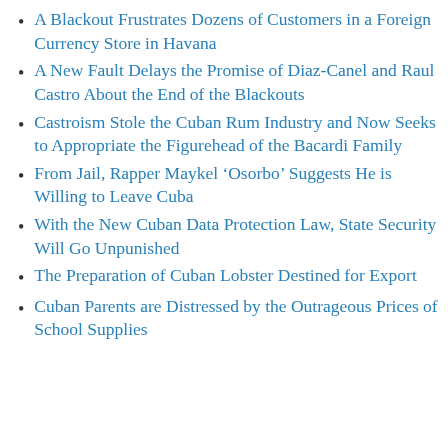A Blackout Frustrates Dozens of Customers in a Foreign Currency Store in Havana
A New Fault Delays the Promise of Diaz-Canel and Raul Castro About the End of the Blackouts
Castroism Stole the Cuban Rum Industry and Now Seeks to Appropriate the Figurehead of the Bacardi Family
From Jail, Rapper Maykel ‘Osorbo’ Suggests He is Willing to Leave Cuba
With the New Cuban Data Protection Law, State Security Will Go Unpunished
The Preparation of Cuban Lobster Destined for Export
Cuban Parents are Distressed by the Outrageous Prices of School Supplies